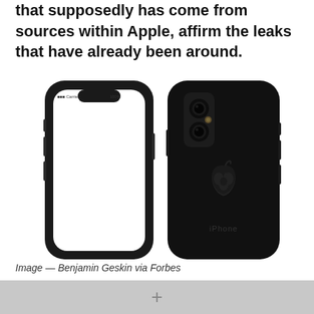that supposedly has come from sources within Apple, affirm the leaks that have already been around.
[Figure (photo): Front and back view of an iPhone (iPhone X / iPhone 8 leak render). Front view shows edge-to-edge display with notch. Back view shows dual camera, Apple logo, and 'iPhone' text, all in black/space gray finish.]
Image — Benjamin Geskin via Forbes
+